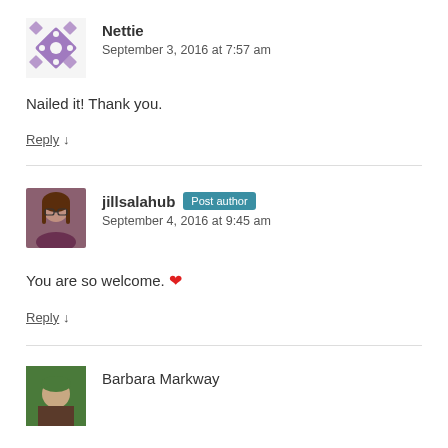[Figure (illustration): Purple decorative avatar icon with diamond/cross pattern]
Nettie
September 3, 2016 at 7:57 am
Nailed it! Thank you.
Reply ↓
[Figure (photo): Profile photo of jillsalahub, a woman with long brown hair and glasses]
jillsalahub Post author
September 4, 2016 at 9:45 am
You are so welcome. ❤
Reply ↓
[Figure (photo): Partial profile photo of Barbara Markway]
Barbara Markway